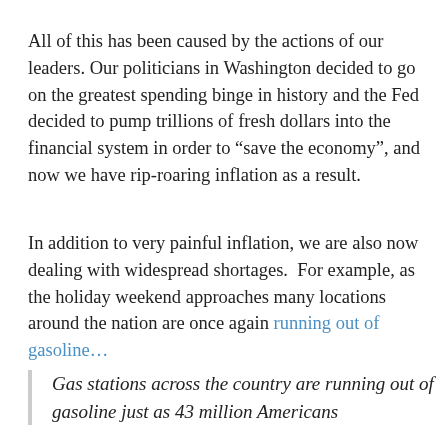All of this has been caused by the actions of our leaders. Our politicians in Washington decided to go on the greatest spending binge in history and the Fed decided to pump trillions of fresh dollars into the financial system in order to “save the economy”, and now we have rip-roaring inflation as a result.
In addition to very painful inflation, we are also now dealing with widespread shortages.  For example, as the holiday weekend approaches many locations around the nation are once again running out of gasoline…
Gas stations across the country are running out of gasoline just as 43 million Americans